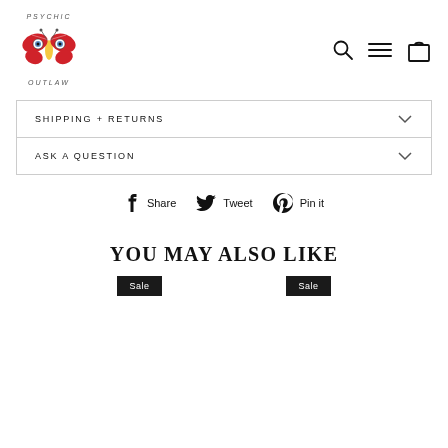[Figure (logo): Psychic Outlaw logo — a stylized red butterfly with eyes, surrounded by hand-lettered text reading PSYCHIC OUTLAW]
[Figure (infographic): Navigation icons: search (magnifying glass), menu (hamburger), cart (bag)]
SHIPPING + RETURNS
ASK A QUESTION
Share   Tweet   Pin it
YOU MAY ALSO LIKE
Sale   Sale